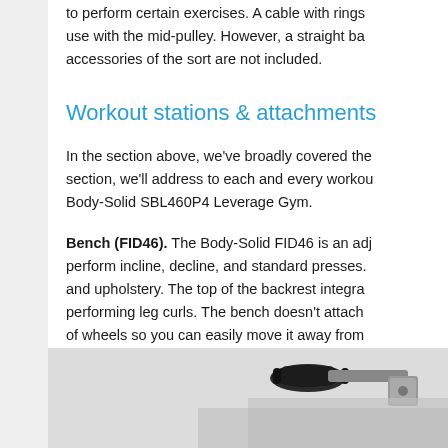to perform certain exercises. A cable with rings use with the mid-pulley. However, a straight bar accessories of the sort are not included.
Workout stations & attachments
In the section above, we've broadly covered the section, we'll address to each and every workout Body-Solid SBL460P4 Leverage Gym.
Bench (FID46). The Body-Solid FID46 is an adj perform incline, decline, and standard presses. and upholstery. The top of the backrest integra performing leg curls. The bench doesn't attach of wheels so you can easily move it away from
[Figure (photo): Photo of gym equipment handle/bar attachment, showing dark handlebar grips and metal frame of the Body-Solid SBL460P4 Leverage Gym bench or attachment.]